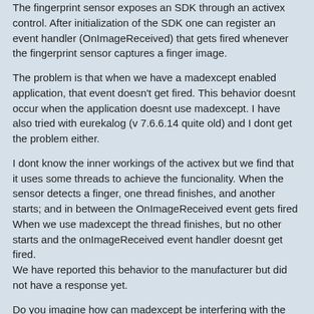The fingerprint sensor exposes an SDK through an activex control. After initialization of the SDK one can register an event handler (OnImageReceived) that gets fired whenever the fingerprint sensor captures a finger image.
The problem is that when we have a madexcept enabled application, that event doesn't get fired. This behavior doesnt occur when the application doesnt use madexcept. I have also tried with eurekalog (v 7.6.6.14 quite old) and I dont get the problem either.
I dont know the inner workings of the activex but we find that it uses some threads to achieve the funcionality. When the sensor detects a finger, one thread finishes, and another starts; and in between the OnImageReceived event gets fired
When we use madexcept the thread finishes, but no other starts and the onImageReceived event handler doesnt get fired.
We have reported this behavior to the manufacturer but did not have a response yet.
Do you imagine how can madexcept be interfering with the sdk to have this behavior?
Do you have an idea of what can we try to workarround this problem?
Also, after some trial an error we have found that activating "report resource leaks" option the application behaves as expected (the event